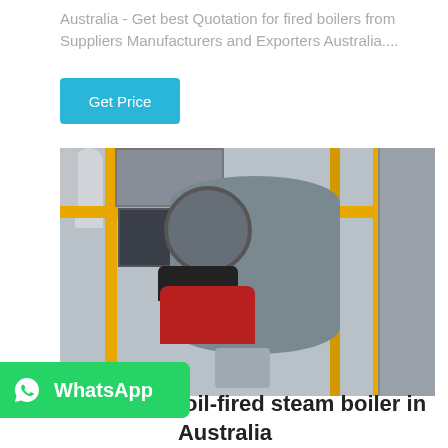Australia - Get best Quotation for fired boilers from Suppliers Manufacturers and Exporters Australia....
[Figure (other): Blue 'Get Price' button]
[Figure (photo): Industrial oil-fired steam boiler with yellow rails and red burner, installed in a facility in Australia]
[Figure (other): WhatsApp green button with phone icon and 'WhatsApp' text]
...g...pplication oil-fired steam boiler in Australia